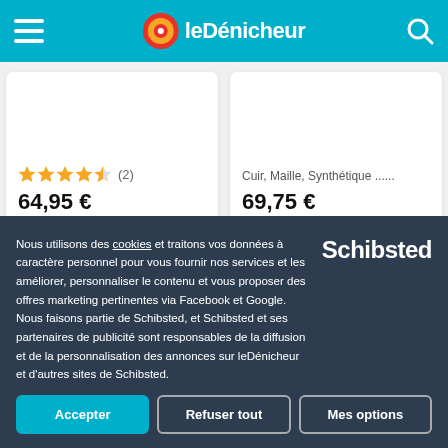leDénicheur
64,95 €
Cuir, Maille, Synthétique ......
69,75 €
Nous utilisons des cookies et traitons vos données à caractère personnel pour vous fournir nos services et les améliorer, personnaliser le contenu et vous proposer des offres marketing pertinentes via Facebook et Google. Nous faisons partie de Schibsted, et Schibsted et ses partenaires de publicité sont responsables de la diffusion et de la personnalisation des annonces sur leDénicheur et d'autres sites de Schibsted.
Accepter
Refuser tout
Mes options